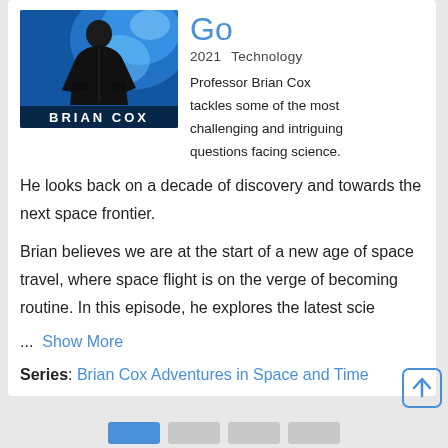[Figure (photo): Cover image for Brian Cox documentary — man in black jacket against blue space/cosmic background, text 'BRIAN COX' at bottom]
Go
2021    Technology
Professor Brian Cox tackles some of the most challenging and intriguing questions facing science.
He looks back on a decade of discovery and towards the next space frontier.
Brian believes we are at the start of a new age of space travel, where space flight is on the verge of becoming routine. In this episode, he explores the latest scie
... Show More
Series: Brian Cox Adventures in Space and Time